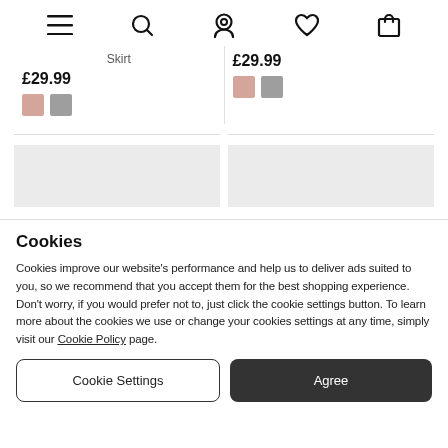[Figure (screenshot): Navigation bar with hamburger menu, search, location pin, heart/wishlist, and bag/cart icons]
Skirt
£29.99
£29.99
[Figure (illustration): Two grey placeholder product image boxes]
Cookies
Cookies improve our website's performance and help us to deliver ads suited to you, so we recommend that you accept them for the best shopping experience. Don't worry, if you would prefer not to, just click the cookie settings button. To learn more about the cookies we use or change your cookies settings at any time, simply visit our Cookie Policy page.
Cookie Settings
Agree